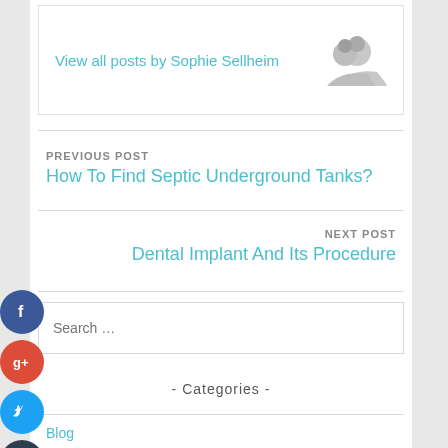View all posts by Sophie Sellheim
PREVIOUS POST
How To Find Septic Underground Tanks?
NEXT POST
Dental Implant And Its Procedure
[Figure (illustration): Social media icon buttons: Facebook (blue), Google+ (red), Twitter (cyan), Plus (dark navy) arranged vertically on the left side]
Search ...
- Categories -
Blog